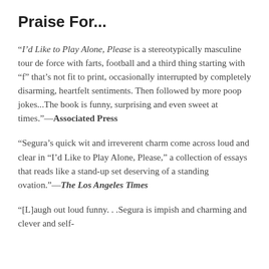Praise For...
“I’d Like to Play Alone, Please is a stereotypically masculine tour de force with farts, football and a third thing starting with “f” that’s not fit to print, occasionally interrupted by completely disarming, heartfelt sentiments. Then followed by more poop jokes...The book is funny, surprising and even sweet at times.”—Associated Press
“Segura’s quick wit and irreverent charm come across loud and clear in “I’d Like to Play Alone, Please,” a collection of essays that reads like a stand-up set deserving of a standing ovation.”—The Los Angeles Times
“[L]augh out loud funny. . .Segura is impish and charming and clever and self-